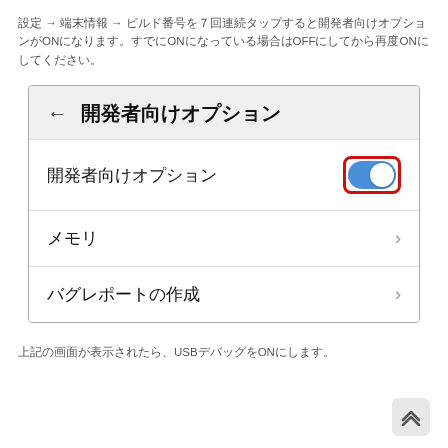設定 → 開発者向け → 開発者向けオプションをONにします。すでにONになっている場合はOFFにしてから再度ONにしてください。
[Figure (screenshot): Android Developer Options settings screen showing a toggle switch (ON/blue) for 開発者向けオプション (Developer Options), with menu items メモリ (Memory) and バグレポートの作成 (Create bug report). The toggle is highlighted with a red border.]
上記の画面が表示されたら、USBデバッグをONにします。